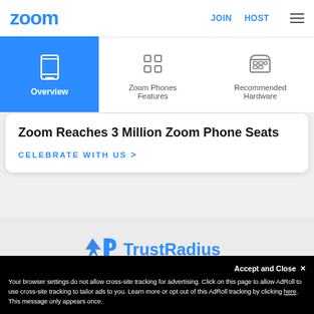zoom  JOIN  HOST
[Figure (screenshot): Zoom sub-navigation bar with Overview (active, blue background with phone icon), Zoom Phones Features (grid icon), and Recommended Hardware (desk phone icon)]
Zoom Reaches 3 Million Zoom Phone Seats
CELEBRATE WITH US >
[Figure (logo): TrustRadius logo in blue]
Zoom is a top vendor on TrustRadius for excellence in customer satisfaction. See why customers prefer Zoom's VoIP phone system over the competition.
Accept and Close ×
Your browser settings do not allow cross-site tracking for advertising. Click on this page to allow AdRoll to use cross-site tracking to tailor ads to you. Learn more or opt out of this AdRoll tracking by clicking here. This message only appears once.